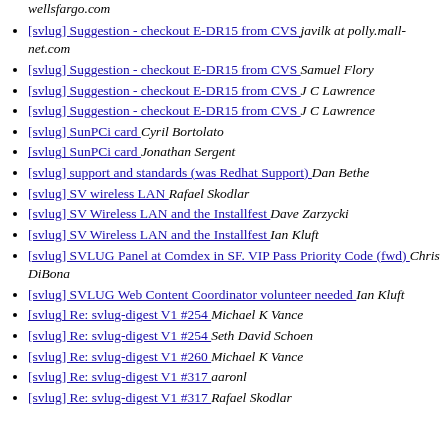wellsfargo.com
[svlug] Suggestion - checkout E-DR15 from CVS  javilk at polly.mall-net.com
[svlug] Suggestion - checkout E-DR15 from CVS  Samuel Flory
[svlug] Suggestion - checkout E-DR15 from CVS  J C Lawrence
[svlug] Suggestion - checkout E-DR15 from CVS  J C Lawrence
[svlug] SunPCi card  Cyril Bortolato
[svlug] SunPCi card  Jonathan Sergent
[svlug] support and standards (was Redhat Support)  Dan Bethe
[svlug] SV wireless LAN  Rafael Skodlar
[svlug] SV Wireless LAN and the Installfest  Dave Zarzycki
[svlug] SV Wireless LAN and the Installfest  Ian Kluft
[svlug] SVLUG Panel at Comdex in SF. VIP Pass Priority Code (fwd)  Chris DiBona
[svlug] SVLUG Web Content Coordinator volunteer needed  Ian Kluft
[svlug] Re: svlug-digest V1 #254  Michael K Vance
[svlug] Re: svlug-digest V1 #254  Seth David Schoen
[svlug] Re: svlug-digest V1 #260  Michael K Vance
[svlug] Re: svlug-digest V1 #317  aaronl
[svlug] Re: svlug-digest V1 #317  Rafael Skodlar